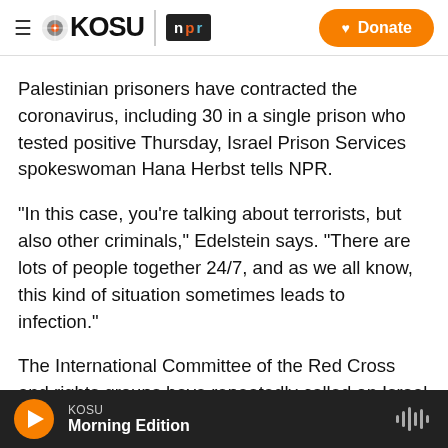KOSU | npr | Donate
Palestinian prisoners have contracted the coronavirus, including 30 in a single prison who tested positive Thursday, Israel Prison Services spokeswoman Hana Herbst tells NPR.
"In this case, you're talking about terrorists, but also other criminals," Edelstein says. "There are lots of people together 24/7, and as we all know, this kind of situation sometimes leads to infection."
The International Committee of the Red Cross and rights groups have repeatedly called on Israel to
KOSU Morning Edition